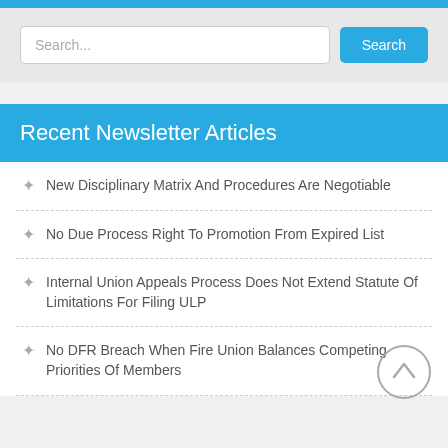Search...
Recent Newsletter Articles
New Disciplinary Matrix And Procedures Are Negotiable
No Due Process Right To Promotion From Expired List
Internal Union Appeals Process Does Not Extend Statute Of Limitations For Filing ULP
No DFR Breach When Fire Union Balances Competing Priorities Of Members